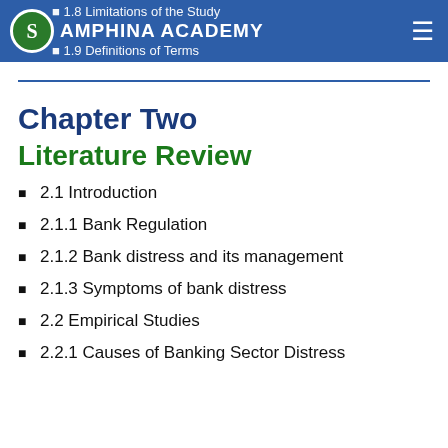Amphina Academy
1.8 Limitations of the Study
1.9 Definitions of Terms
Chapter Two
Literature Review
2.1 Introduction
2.1.1 Bank Regulation
2.1.2 Bank distress and its management
2.1.3 Symptoms of bank distress
2.2 Empirical Studies
2.2.1 Causes of Banking Sector Distress